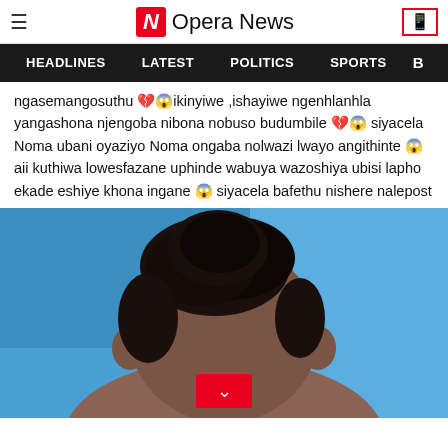Opera News
HEADLINES  LATEST  POLITICS  SPORTS
ngasemangosuthu 💔😱ikinyiwe ,ishayiwe ngenhlanhla yangashona njengoba nibona nobuso budumbile 💔😱 siyacela Noma ubani oyaziyo Noma ongaba nolwazi lwayo angithinte 😱 aii kuthiwa lowesfazane uphinde wabuya wazoshiya ubisi lapho ekade eshiye khona ingane 😱 siyacela bafethu nishere nalepost
[Figure (photo): Back view of a person's head with natural hair, in front of a blue wall/background]